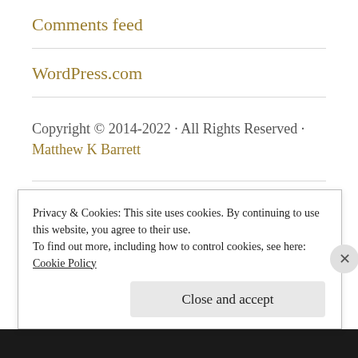Comments feed
WordPress.com
Copyright © 2014-2022 · All Rights Reserved · Matthew K Barrett
Advertisements
Privacy & Cookies: This site uses cookies. By continuing to use this website, you agree to their use.
To find out more, including how to control cookies, see here: Cookie Policy
Close and accept